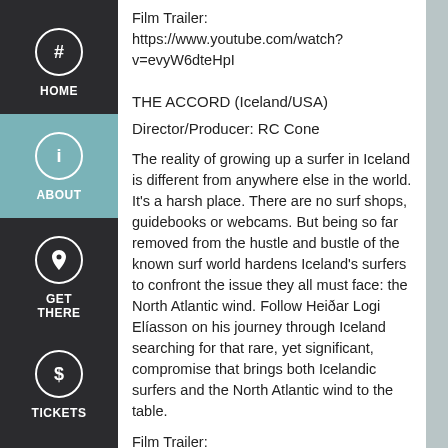Film Trailer: https://www.youtube.com/watch?v=evyW6dteHpI
THE ACCORD (Iceland/USA)
Director/Producer: RC Cone
The reality of growing up a surfer in Iceland is different from anywhere else in the world. It's a harsh place. There are no surf shops, guidebooks or webcams. But being so far removed from the hustle and bustle of the known surf world hardens Iceland’s surfers to confront the issue they all must face: the North Atlantic wind. Follow Heiðar Logi Elíasson on his journey through Iceland searching for that rare, yet significant, compromise that brings both Icelandic surfers and the North Atlantic wind to the table.
Film Trailer: https://www.youtube.com/watch?v=Cga-